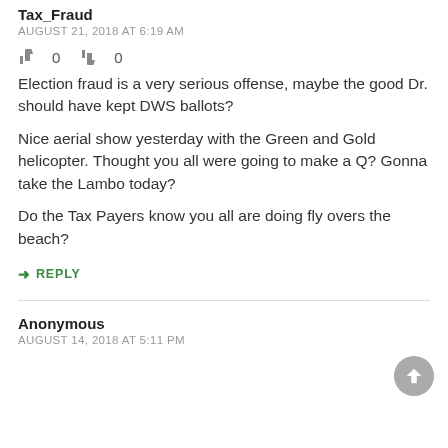Tax_Fraud
AUGUST 21, 2018 AT 6:19 AM
👍 0 👎 0
Election fraud is a very serious offense, maybe the good Dr. should have kept DWS ballots?
Nice aerial show yesterday with the Green and Gold helicopter. Thought you all were going to make a Q? Gonna take the Lambo today?
Do the Tax Payers know you all are doing fly overs the beach?
REPLY
Anonymous
AUGUST 14, 2018 AT 5:11 PM